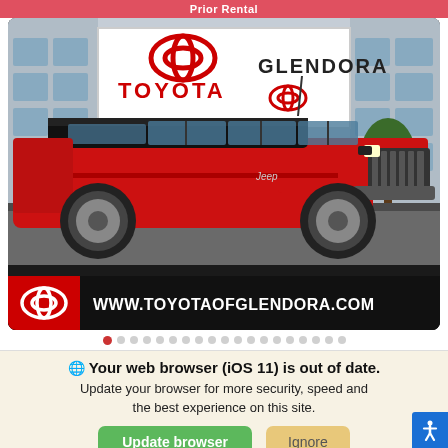Prior Rental
[Figure (photo): Red Jeep Wrangler Unlimited parked in front of Toyota of Glendora dealership. The dealership sign reads TOYOTA and GLENDORA. Bottom bar shows Toyota logo and website WWW.TOYOTAOFGLENDORA.COM]
Your web browser (iOS 11) is out of date. Update your browser for more security, speed and the best experience on this site.
Update browser  Ignore